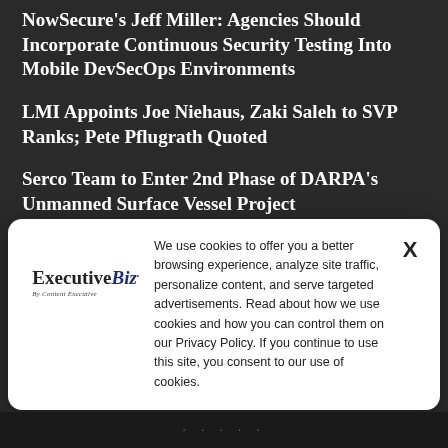NowSecure's Jeff Miller: Agencies Should Incorporate Continuous Security Testing Into Mobile DevSecOps Environments
LMI Appoints Joe Niehaus, Zaki Saleh to SVP Ranks; Pete Pflugrath Quoted
Serco Team to Enter 2nd Phase of DARPA's Unmanned Surface Vessel Project
Grant Thornton to Sell Public Sector Advisory Practice to Guidehouse; Scott McIntyre Quoted
[Figure (logo): ExecutiveBiz logo with tagline 'By Content Executive']
We use cookies to offer you a better browsing experience, analyze site traffic, personalize content, and serve targeted advertisements. Read about how we use cookies and how you can control them on our Privacy Policy. If you continue to use this site, you consent to our use of cookies.